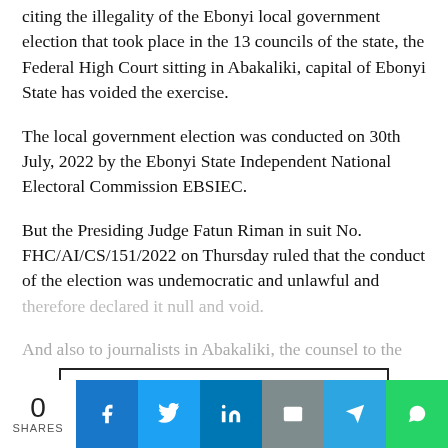citing the illegality of the Ebonyi local government election that took place in the 13 councils of the state, the Federal High Court sitting in Abakaliki, capital of Ebonyi State has voided the exercise.
The local government election was conducted on 30th July, 2022 by the Ebonyi State Independent National Electoral Commission EBSIEC.
But the Presiding Judge Fatun Riman in suit No. FHC/AI/CS/151/2022 on Thursday ruled that the conduct of the election was undemocratic and unlawful and therefore declared it null and void.
And also to journalists in Abakaliki, the counsel to the
CONTINUE READING
0 SHARES